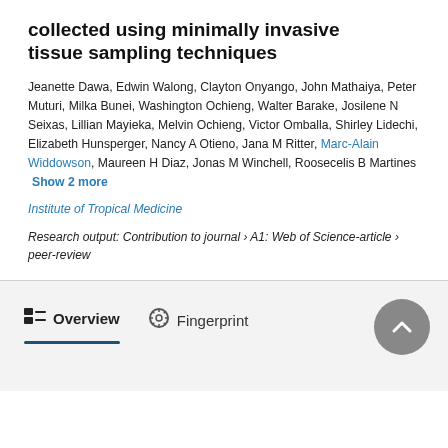collected using minimally invasive tissue sampling techniques
Jeanette Dawa, Edwin Walong, Clayton Onyango, John Mathaiya, Peter Muturi, Milka Bunei, Washington Ochieng, Walter Barake, Josilene N Seixas, Lillian Mayieka, Melvin Ochieng, Victor Omballa, Shirley Lidechi, Elizabeth Hunsperger, Nancy A Otieno, Jana M Ritter, Marc-Alain Widdowson, Maureen H Diaz, Jonas M Winchell, Roosecelis B Martines  Show 2 more
Institute of Tropical Medicine
Research output: Contribution to journal › A1: Web of Science-article › peer-review
Overview
Fingerprint